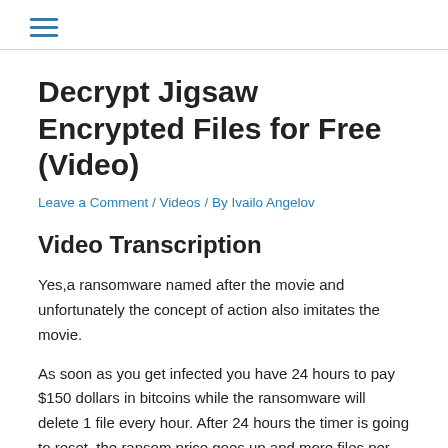≡
Decrypt Jigsaw Encrypted Files for Free (Video)
Leave a Comment / Videos / By Ivailo Angelov
Video Transcription
Yes,a ransomware named after the movie and unfortunately the concept of action also imitates the movie.
As soon as you get infected you have 24 hours to pay $150 dollars in bitcoins while the ransomware will delete 1 file every hour. After 24 hours the timer is going to reset, the ransom price goes up and more files per hour are deleted. After